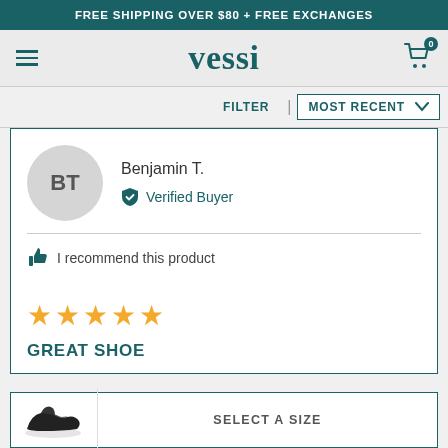FREE SHIPPING OVER $80 + FREE EXCHANGES
[Figure (logo): Vessi brand logo with hamburger menu and shopping cart icon on gray navbar]
FILTER | MOST RECENT ∨
Benjamin T. — Verified Buyer
I recommend this product
★★★★★
GREAT SHOE
SELECT A SIZE